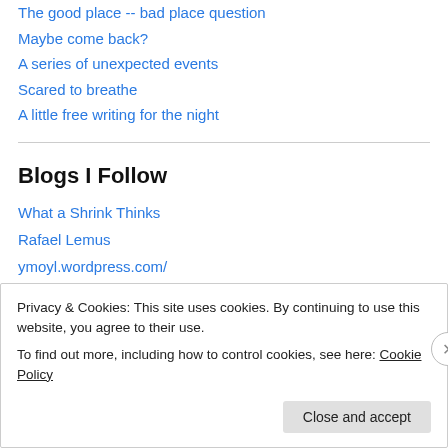The good place -- bad place question
Maybe come back?
A series of unexpected events
Scared to breathe
A little free writing for the night
Blogs I Follow
What a Shrink Thinks
Rafael Lemus
ymoyl.wordpress.com/
⚙ 🌐 Donicia's World ⚙ 🌐 ⚙
aussalorens.com/
Privacy & Cookies: This site uses cookies. By continuing to use this website, you agree to their use. To find out more, including how to control cookies, see here: Cookie Policy
Close and accept